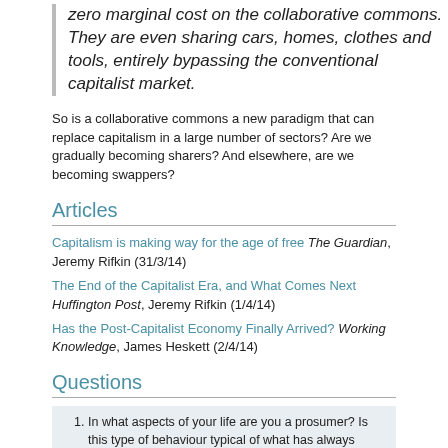zero marginal cost on the collaborative commons. They are even sharing cars, homes, clothes and tools, entirely bypassing the conventional capitalist market.
So is a collaborative commons a new paradigm that can replace capitalism in a large number of sectors? Are we gradually becoming sharers? And elsewhere, are we becoming swappers?
Articles
Capitalism is making way for the age of free The Guardian, Jeremy Rifkin (31/3/14)
The End of the Capitalist Era, and What Comes Next Huffington Post, Jeremy Rifkin (1/4/14)
Has the Post-Capitalist Economy Finally Arrived? Working Knowledge, James Heskett (2/4/14)
Questions
In what aspects of your life are you a prosumer? Is this type of behaviour typical of what has always gone on in families and society?
If marginal cost is zero, why may average cost be well above zero? Illustrate with a diagram.
Could a monopolist make a profit if marginal cost was zero? Again...